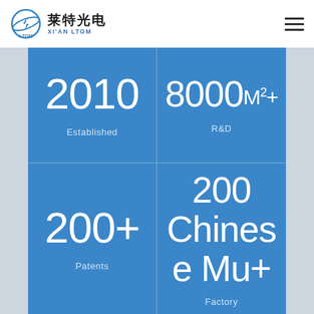莱特光电 XI'AN LTOM
[Figure (infographic): Four-quadrant blue infographic grid showing company stats: 2010 Established, 8000M²+ R&D, 200+ Patents, 200 Chinese Mu+ Factory]
2010 Established
8000M²+ R&D
200+ Patents
200 Chinese Mu+ Factory